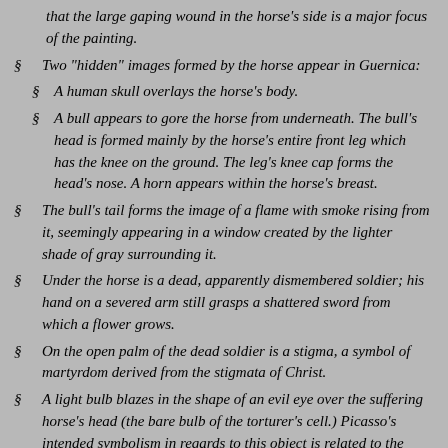that the large gaping wound in the horse's side is a major focus of the painting.
Two "hidden" images formed by the horse appear in Guernica:
A human skull overlays the horse's body.
A bull appears to gore the horse from underneath. The bull's head is formed mainly by the horse's entire front leg which has the knee on the ground. The leg's knee cap forms the head's nose. A horn appears within the horse's breast.
The bull's tail forms the image of a flame with smoke rising from it, seemingly appearing in a window created by the lighter shade of gray surrounding it.
Under the horse is a dead, apparently dismembered soldier; his hand on a severed arm still grasps a shattered sword from which a flower grows.
On the open palm of the dead soldier is a stigma, a symbol of martyrdom derived from the stigmata of Christ.
A light bulb blazes in the shape of an evil eye over the suffering horse's head (the bare bulb of the torturer's cell.) Picasso's intended symbolism in regards to this object is related to the